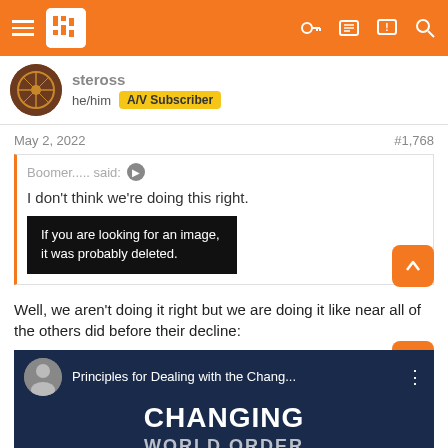Navigation bar with hamburger menu, logo, and icons
steross
he/him  A/V Subscriber
May 2, 2022	#1,768
Boomer..... said:
I don't think we're doing this right.
[If you are looking for an image, it was probably deleted.]
Well, we aren't doing it right but we are doing it like near all of the others did before their decline:
[Figure (screenshot): YouTube video thumbnail showing 'Principles for Dealing with the Chang...' with large text 'CHANGING' and partial text below, dark navy background]